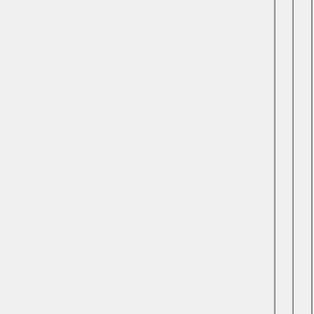- Walk ups interpreted being slightly more inter PCD
- Experience Maybe because technic are so with Conne market folks sh be mor involve John D - perha unique PCD, w